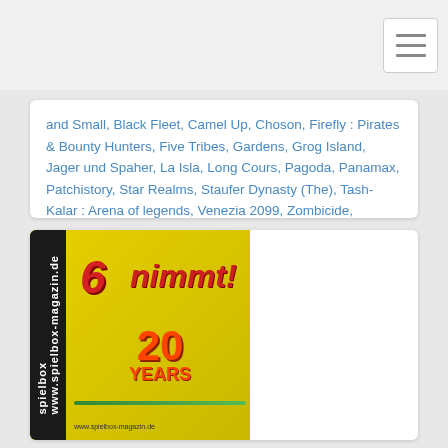and Small, Black Fleet, Camel Up, Choson, Firefly : Pirates & Bounty Hunters, Five Tribes, Gardens, Grog Island, Jager und Spaher, La Isla, Long Cours, Pagoda, Panamax, Patchistory, Star Realms, Staufer Dynasty (The), Tash-Kalar : Arena of legends, Venezia 2099, Zombicide,
Editore: Nostheide Verlag gmbh
Allegati: Gioco o inserto: Tash-Kalar : Arena of legends
[Figure (photo): Cover of 6 nimmt! 20 Years board game, with spielbox magazine logo on the left side, red 6 nimmt! title, and 20 YEARS text on yellow background]